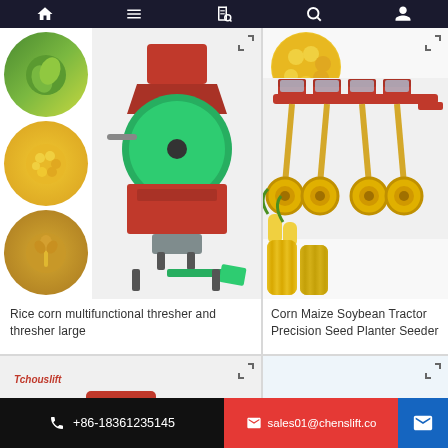Navigation bar with home, menu, book, search, and user icons
[Figure (photo): Rice corn multifunctional thresher machine with circular thumbnails of corn, soybeans, wheat, soybean plants, corn kernels, and black seeds]
Rice corn multifunctional thresher and thresher large
[Figure (photo): Corn Maize Soybean Tractor Precision Seed Planter Seeder machine with red and yellow wheel frame, with corn cobs and corn kernels thumbnails]
Corn Maize Soybean Tractor Precision Seed Planter Seeder
[Figure (photo): Red thresher machine with green drum, Tchouslift brand, partially visible]
[Figure (photo): Blue agricultural equipment, partially visible]
+86-18361235145   sales01@chenslift.co